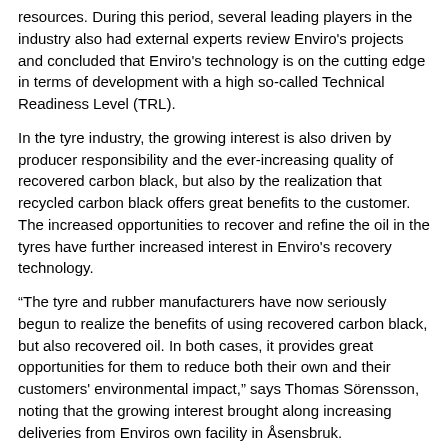resources. During this period, several leading players in the industry also had external experts review Enviro's projects and concluded that Enviro's technology is on the cutting edge in terms of development with a high so-called Technical Readiness Level (TRL).
In the tyre industry, the growing interest is also driven by producer responsibility and the ever-increasing quality of recovered carbon black, but also by the realization that recycled carbon black offers great benefits to the customer. The increased opportunities to recover and refine the oil in the tyres have further increased interest in Enviro's recovery technology.
“The tyre and rubber manufacturers have now seriously begun to realize the benefits of using recovered carbon black, but also recovered oil. In both cases, it provides great opportunities for them to reduce both their own and their customers' environmental impact,” says Thomas Sörensson, noting that the growing interest brought along increasing deliveries from Enviros own facility in Åsensbruk.
“During the year, we made boosting investments in Åsensbruk, which has led to higher deliveries to customers such as Trelleborg and Elastomeric.”
For further information, please contact: Thomas Sörensson, CEO of Enviro, +46 (0)735-10 53 43, thomas.sorensson@envirosystems.se